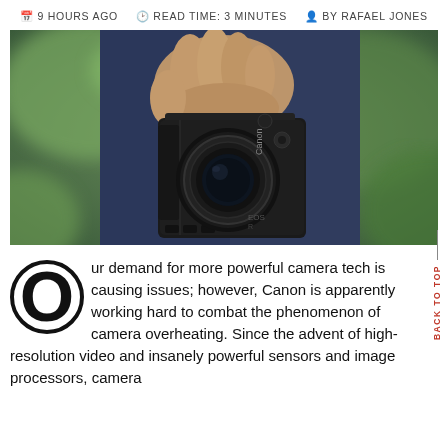9 HOURS AGO   READ TIME: 3 MINUTES   BY RAFAEL JONES
[Figure (photo): A person holding a Canon EOS mirrorless camera by its side, with a wide lens facing forward. The background shows blurred green foliage. The person is wearing dark jeans.]
Our demand for more powerful camera tech is causing issues; however, Canon is apparently working hard to combat the phenomenon of camera overheating. Since the advent of high-resolution video and insanely powerful sensors and image processors, camera